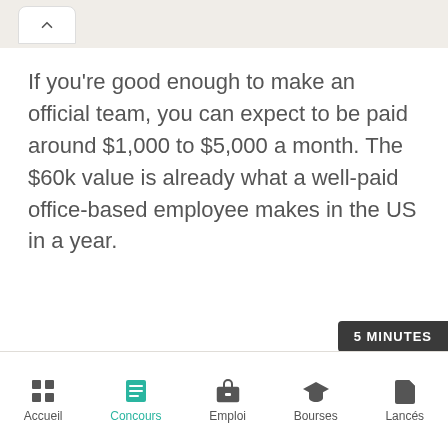If you're good enough to make an official team, you can expect to be paid around $1,000 to $5,000 a month. The $60k value is already what a well-paid office-based employee makes in the US in a year.
Accueil | Concours | Emploi | Bourses | Lancés